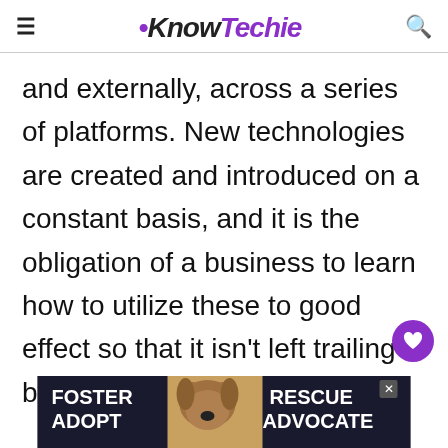KnowTechie
and externally, across a series of platforms. New technologies are created and introduced on a constant basis, and it is the obligation of a business to learn how to utilize these to good effect so that it isn't left trailing by its competitors.

This infographic by Irish
[Figure (photo): Advertisement banner showing a dog with text FOSTER ADOPT RESCUE ADVOCATE on dark background]